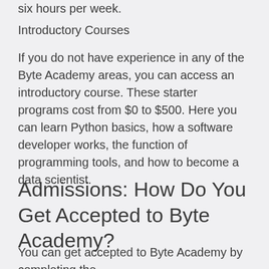six hours per week.
Introductory Courses
If you do not have experience in any of the Byte Academy areas, you can access an introductory course. These starter programs cost from $0 to $500. Here you can learn Python basics, how a software developer works, the function of programming tools, and how to become a data scientist.
Admissions: How Do You Get Accepted to Byte Academy?
You can get accepted to Byte Academy by completing the